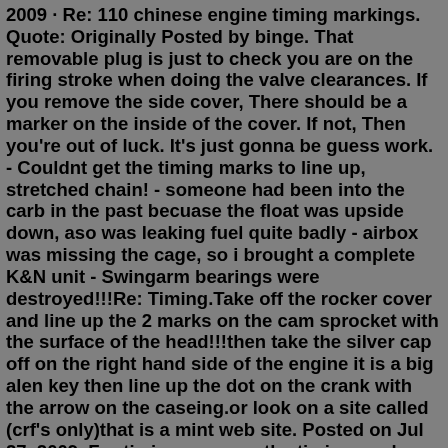2009 · Re: 110 chinese engine timing markings. Quote: Originally Posted by binge. That removable plug is just to check you are on the firing stroke when doing the valve clearances. If you remove the side cover, There should be a marker on the inside of the cover. If not, Then you're out of luck. It's just gonna be guess work. - Couldnt get the timing marks to line up, stretched chain! - someone had been into the carb in the past becuase the float was upside down, aso was leaking fuel quite badly - airbox was missing the cage, so i brought a complete K&N unit - Swingarm bearings were destroyed!!!Re: Timing.Take off the rocker cover and line up the 2 marks on the cam sprocket with the surface of the head!!!then take the silver cap off on the right hand side of the engine it is a big alen key then line up the dot on the crank with the arrow on the caseing.or look on a site called (crf's only)that is a mint web site. Posted on Jul 27, 2009. For timing, you use the timing mark on the ... People needed help on the forums so here I am.How to adjust valves http://www.youtube.com/watch?